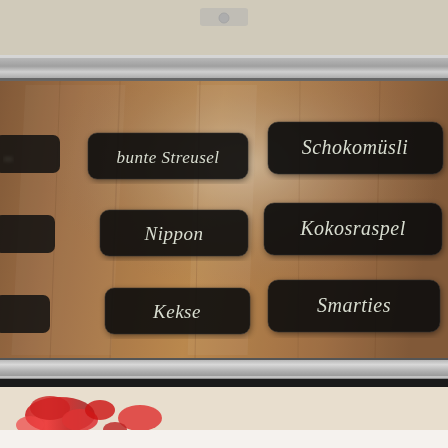[Figure (photo): A photo of a wooden display panel with black label tags in white cursive script. The labels read: 'bunte Streusel', 'Schokomüsli', 'Nippon', 'Kokosraspel', 'Kekse', 'Smarties'. The panel is framed with metallic silver edges and appears to be a topping/ingredient selection board at a dessert or ice cream counter. The bottom strip shows blurred red berries or similar toppings.]